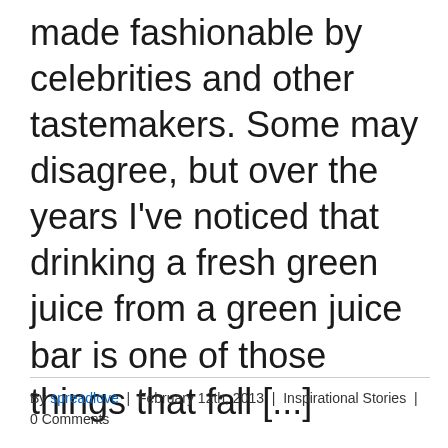made fashionable by celebrities and other tastemakers. Some may disagree, but over the years I've noticed that drinking a fresh green juice from a green juice bar is one of those things that fall [...]
By spreadlove  |  February 12th, 2013  |  Inspirational Stories  |  0 Comments